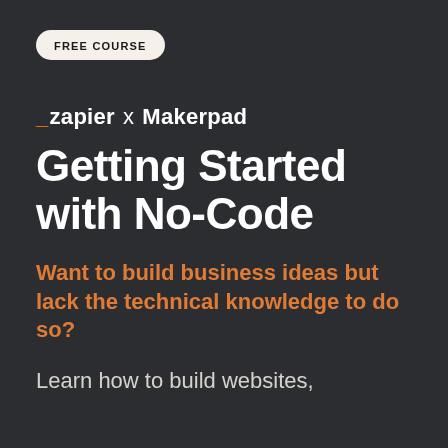FREE COURSE
_zapier x Makerpad
Getting Started with No-Code
Want to build business ideas but lack the technical knowledge to do so?
Learn how to build websites,